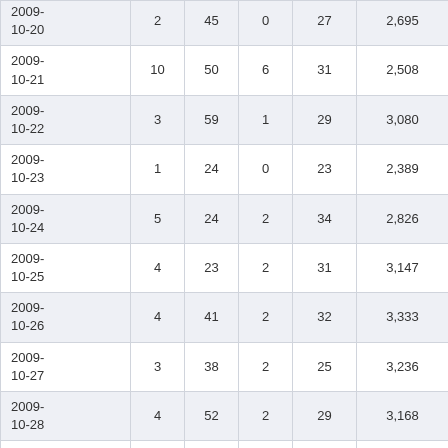| Date | Col1 | Col2 | Col3 | Col4 | Col5 |
| --- | --- | --- | --- | --- | --- |
| 2009-10-20 | 2 | 45 | 0 | 27 | 2,695 |
| 2009-10-21 | 10 | 50 | 6 | 31 | 2,508 |
| 2009-10-22 | 3 | 59 | 1 | 29 | 3,080 |
| 2009-10-23 | 1 | 24 | 0 | 23 | 2,389 |
| 2009-10-24 | 5 | 24 | 2 | 34 | 2,826 |
| 2009-10-25 | 4 | 23 | 2 | 31 | 3,147 |
| 2009-10-26 | 4 | 41 | 2 | 32 | 3,333 |
| 2009-10-27 | 3 | 38 | 2 | 25 | 3,236 |
| 2009-10-28 | 4 | 52 | 2 | 29 | 3,168 |
| 2009-10-29 | 4 | 24 | 0 | 22 | 2,520 |
| 2009-10-30 | 6 | 54 | 3 | 35 | 3,649 |
| 2009-… |  |  |  |  |  |